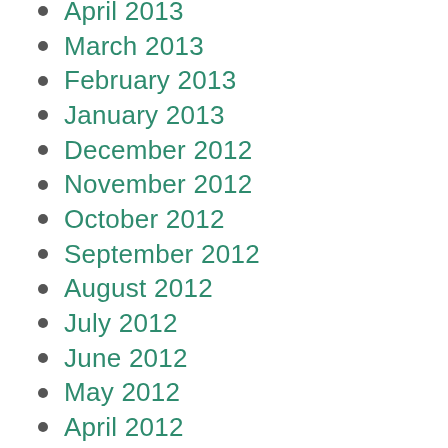April 2013
March 2013
February 2013
January 2013
December 2012
November 2012
October 2012
September 2012
August 2012
July 2012
June 2012
May 2012
April 2012
March 2012
February 2012
January 2012
December 2011